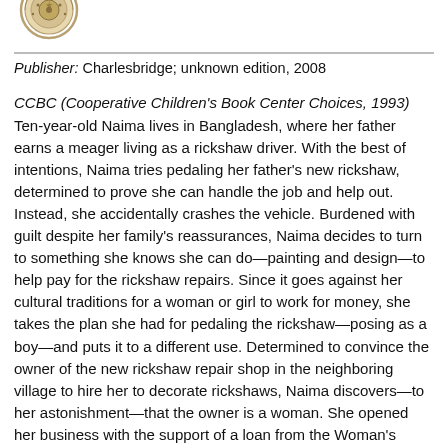[Figure (logo): Circular seal/logo with decorative design, partially visible at top left]
Publisher: Charlesbridge; unknown edition, 2008
CCBC (Cooperative Children's Book Center Choices, 1993) Ten-year-old Naima lives in Bangladesh, where her father earns a meager living as a rickshaw driver. With the best of intentions, Naima tries pedaling her father's new rickshaw, determined to prove she can handle the job and help out. Instead, she accidentally crashes the vehicle. Burdened with guilt despite her family's reassurances, Naima decides to turn to something she knows she can do—painting and design—to help pay for the rickshaw repairs. Since it goes against her cultural traditions for a woman or girl to work for money, she takes the plan she had for pedaling the rickshaw—posing as a boy—and puts it to a different use. Determined to convince the owner of the new rickshaw repair shop in the neighboring village to hire her to decorate rickshaws, Naima discovers—to her astonishment—that the owner is a woman. She opened her business with the support of a loan from the Woman's Bank, and she offers Naima the opportunity to work—as a girl—and develop her talents. Mitali Perkins introduces Bangla culture and customs in the context of an appealing, child-centered story that also highlights changing attitudes and times. An author's note provides additional information on microfinance—the system that